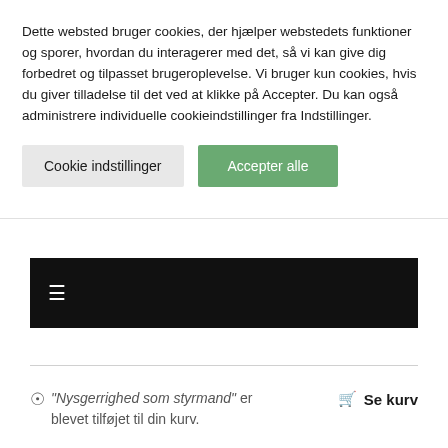Dette websted bruger cookies, der hjælper webstedets funktioner og sporer, hvordan du interagerer med det, så vi kan give dig forbedret og tilpasset brugeroplevelse. Vi bruger kun cookies, hvis du giver tilladelse til det ved at klikke på Accepter. Du kan også administrere individuelle cookieindstillinger fra Indstillinger.
Cookie indstillinger
Accepter alle
[Figure (screenshot): Black navigation bar with white hamburger menu icon (three horizontal lines)]
☑ "Nysgerrighed som styrmand" er blevet tilføjet til din kurv.
🛒 Se kurv